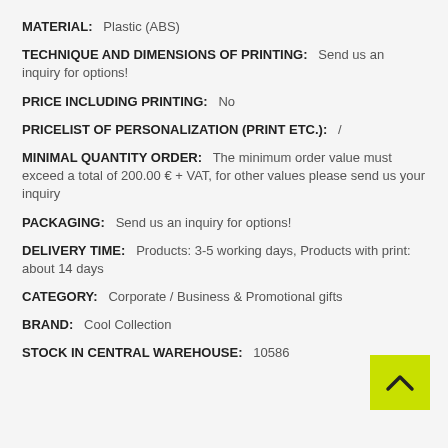MATERIAL: Plastic (ABS)
TECHNIQUE AND DIMENSIONS OF PRINTING: Send us an inquiry for options!
PRICE INCLUDING PRINTING: No
PRICELIST OF PERSONALIZATION (PRINT ETC.): /
MINIMAL QUANTITY ORDER: The minimum order value must exceed a total of 200.00 € + VAT, for other values please send us your inquiry
PACKAGING: Send us an inquiry for options!
DELIVERY TIME: Products: 3-5 working days, Products with print: about 14 days
CATEGORY: Corporate / Business & Promotional gifts
BRAND: Cool Collection
STOCK IN CENTRAL WAREHOUSE: 10586
[Figure (other): Back to top button with upward chevron arrow on lime green background]